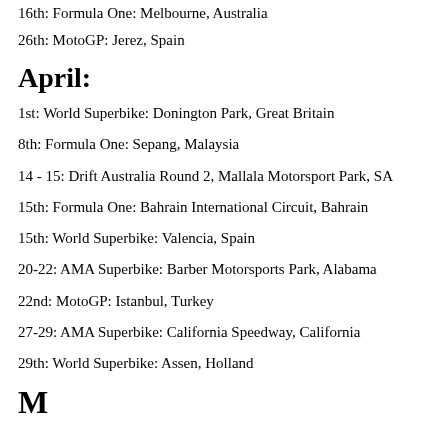16th: Formula One: Melbourne, Australia
26th: MotoGP: Jerez, Spain
April:
1st: World Superbike: Donington Park, Great Britain
8th: Formula One: Sepang, Malaysia
14 - 15: Drift Australia Round 2, Mallala Motorsport Park, SA
15th: Formula One: Bahrain International Circuit, Bahrain
15th: World Superbike: Valencia, Spain
20-22: AMA Superbike: Barber Motorsports Park, Alabama
22nd: MotoGP: Istanbul, Turkey
27-29: AMA Superbike: California Speedway, California
29th: World Superbike: Assen, Holland
M...